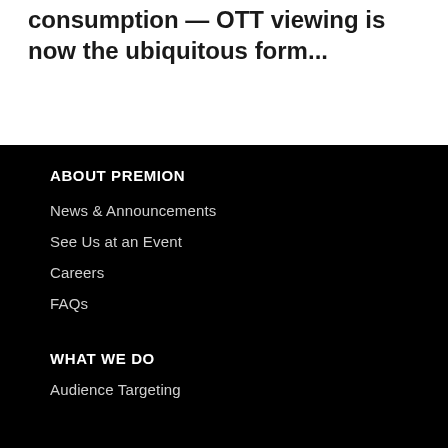consumption — OTT viewing is now the ubiquitous form...
ABOUT PREMION
News & Announcements
See Us at an Event
Careers
FAQs
WHAT WE DO
Audience Targeting